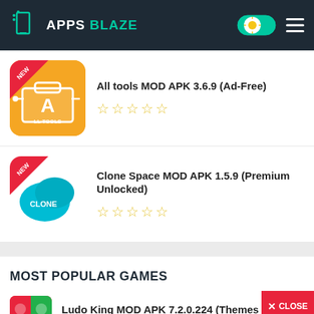APPS BLAZE
All tools MOD APK 3.6.9 (Ad-Free)
[Figure (screenshot): All Tools app icon with orange background and letter A logo with NEW ribbon]
Clone Space MOD APK 1.5.9 (Premium Unlocked)
[Figure (screenshot): Clone Space app icon with teal chat bubble logo and NEW ribbon]
MOST POPULAR GAMES
Ludo King MOD APK 7.2.0.224 (Themes Unlocked)